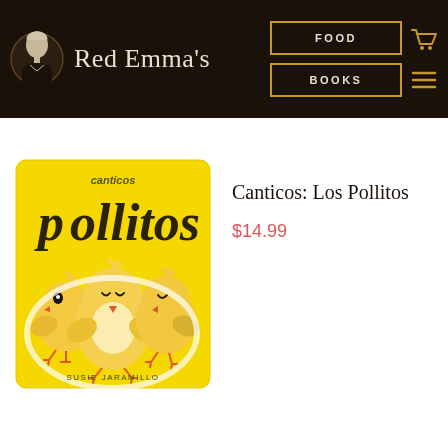Red Emma's | FOOD | BOOKS
[Figure (illustration): Book cover for 'Canticos: Los Pollitos' — yellow background with three cartoon chick illustrations in the center, text 'canticos' at top in small script, 'pollitos' in large decorative letters, author name 'SUSIE JARAMILLO' at bottom.]
Canticos: Los Pollitos
$14.99